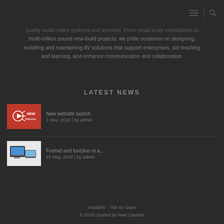Navigation header with hamburger menu and search icon
quality audio-video systems and services. From small-scale installations to multi-million pound new-build projects, we pride ourselves on designing, installing and maintaining AV solutions that support enterprises, aid teaching and learning, and enhance communication and collaboration.
LATEST NEWS
[Figure (photo): Red thumbnail with megaphone/announcement icon and 'NEW Website' text]
New website launch
1 May, 2018 | by admin
[Figure (photo): Light gray thumbnail showing AV equipment with monitor and tablet]
Format and function in a...
15 May, 2018 | by admin
InstallAV - The AV Guys
© 2018 created by Awe Creative